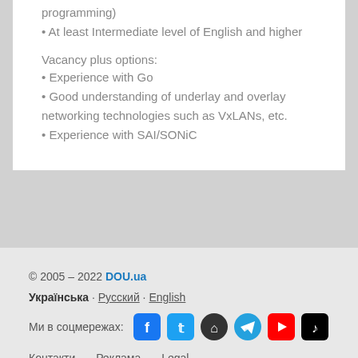programming)
• At least Intermediate level of English and higher
Vacancy plus options:
• Experience with Go
• Good understanding of underlay and overlay networking technologies such as VxLANs, etc.
• Experience with SAI/SONiC
© 2005 – 2022 DOU.ua
Українська · Русский · English
Ми в соцмережах: [social icons]
Контакти   Реклама   Legal